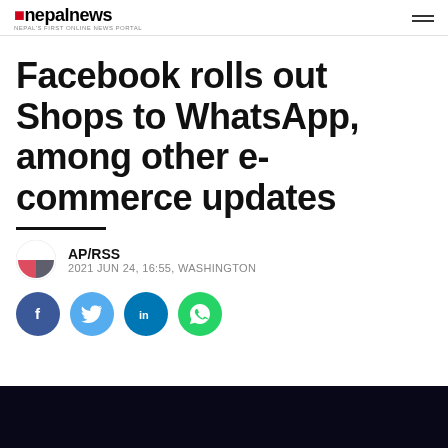Nepalnews — NEPAL'S FIRST ONLINE NEWS PORTAL
Facebook rolls out Shops to WhatsApp, among other e-commerce updates
AP/RSS
2021 JUN 24, 16:55, WASHINGTON
[Figure (infographic): Social sharing buttons: Facebook (blue circle), Twitter (light blue circle), LinkedIn (blue circle), WhatsApp (green circle)]
[Figure (photo): Dark background image at bottom of page]